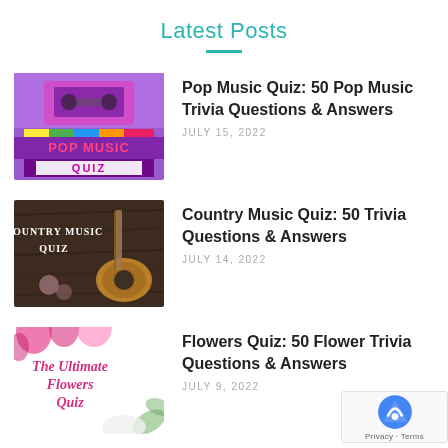Latest Posts
[Figure (illustration): Pop Music Quiz thumbnail - purple/violet background with colorful cassette tapes graphic and text 'POP MUSIC QUIZ' in pink letters]
Pop Music Quiz: 50 Pop Music Trivia Questions & Answers
JULY 15, 2022
[Figure (photo): Country Music Quiz thumbnail - dark wood background with guitar and text 'COUNTRY MUSIC QUIZ' in white letters]
Country Music Quiz: 50 Trivia Questions & Answers
JULY 14, 2022
[Figure (illustration): Flowers Quiz thumbnail - white background with pink flowers and text 'The Ultimate Flowers Quiz' in pink letters]
Flowers Quiz: 50 Flower Trivia Questions & Answers
JULY 9, 2022